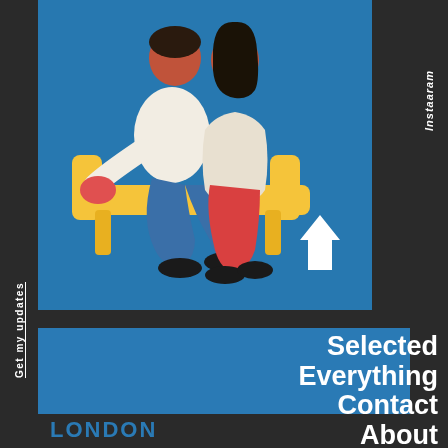[Figure (illustration): Two illustrated people (a man and a woman) sitting on a yellow sofa/chair against a blue background. The man is in a white shirt with blue pants, the woman in red. A white upward arrow is visible in the lower right of the illustration.]
Instaaram
Get my updates
Selected
Everything
Contact
About
LONDON